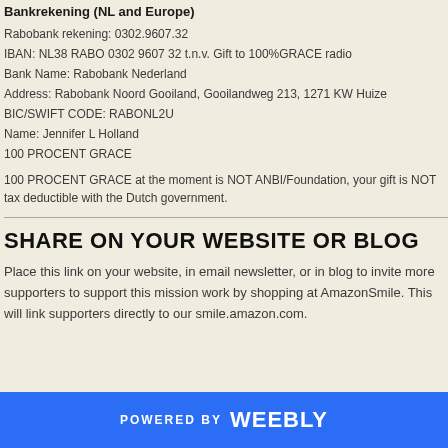Bankrekening (NL and Europe)
Rabobank rekening: 0302.9607.32
IBAN: NL38 RABO 0302 9607 32 t.n.v. Gift to 100%GRACE radio
Bank Name: Rabobank Nederland
Address: Rabobank Noord Gooiland, Gooilandweg 213, 1271 KW Huize
BIC/SWIFT CODE: RABONL2U
Name: Jennifer L Holland
100 PROCENT GRACE
100 PROCENT GRACE at the moment is NOT ANBI/Foundation, your gift is NOT tax deductible with the Dutch government.
SHARE ON YOUR WEBSITE OR BLOG
Place this link on your website, in email newsletter, or in blog to invite more supporters to support this mission work by shopping at AmazonSmile. This will link supporters directly to our smile.amazon.com.
POWERED BY weebly